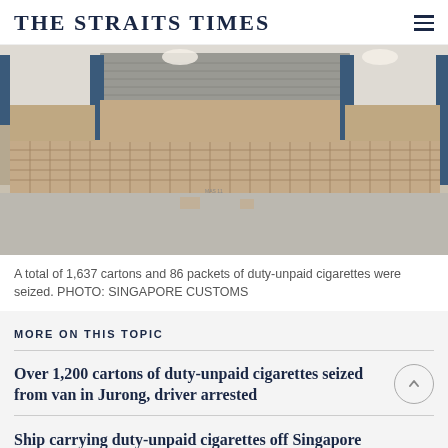THE STRAITS TIMES
[Figure (photo): Warehouse interior showing large stacks of brown cardboard boxes (duty-unpaid cigarette cartons) lined up along a wall with roller shutters, concrete floor, blue pillars visible]
A total of 1,637 cartons and 86 packets of duty-unpaid cigarettes were seized. PHOTO: SINGAPORE CUSTOMS
MORE ON THIS TOPIC
Over 1,200 cartons of duty-unpaid cigarettes seized from van in Jurong, driver arrested
Ship carrying duty-unpaid cigarettes off Singapore